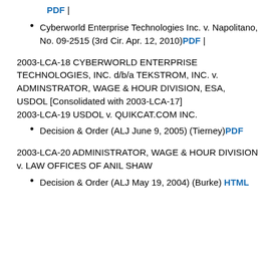PDF |
Cyberworld Enterprise Technologies Inc. v. Napolitano, No. 09-2515 (3rd Cir. Apr. 12, 2010) PDF |
2003-LCA-18 CYBERWORLD ENTERPRISE TECHNOLOGIES, INC. d/b/a TEKSTROM, INC. v. ADMINSTRATOR, WAGE & HOUR DIVISION, ESA, USDOL [Consolidated with 2003-LCA-17] 2003-LCA-19 USDOL v. QUIKCAT.COM INC.
Decision & Order (ALJ June 9, 2005) (Tierney) PDF
2003-LCA-20 ADMINISTRATOR, WAGE & HOUR DIVISION v. LAW OFFICES OF ANIL SHAW
Decision & Order (ALJ May 19, 2004) (Burke) HTML